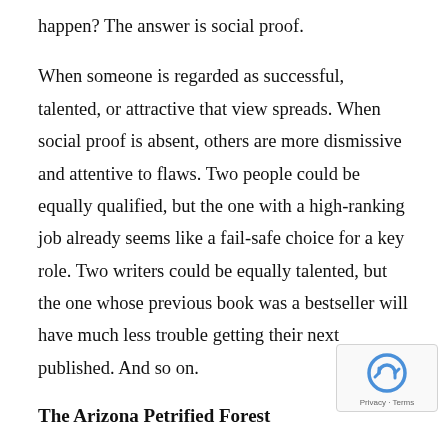happen? The answer is social proof.
When someone is regarded as successful, talented, or attractive that view spreads. When social proof is absent, others are more dismissive and attentive to flaws. Two people could be equally qualified, but the one with a high-ranking job already seems like a fail-safe choice for a key role. Two writers could be equally talented, but the one whose previous book was a bestseller will have much less trouble getting their next published. And so on.
The Arizona Petrified Forest